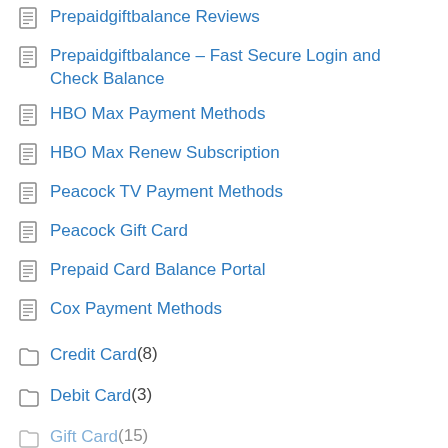Prepaidgiftbalance Reviews
Prepaidgiftbalance – Fast Secure Login and Check Balance
HBO Max Payment Methods
HBO Max Renew Subscription
Peacock TV Payment Methods
Peacock Gift Card
Prepaid Card Balance Portal
Cox Payment Methods
Credit Card (8)
Debit Card (3)
Gift Card (15)